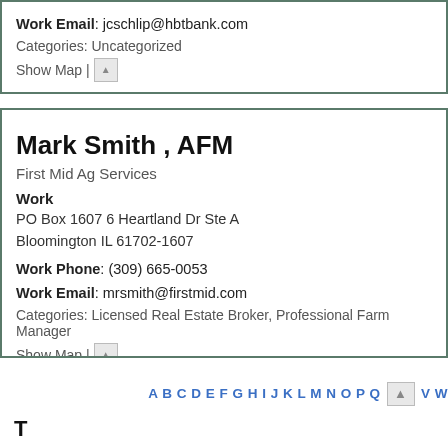Work Email: jcschlip@hbtbank.com
Categories: Uncategorized
Show Map |
Mark Smith , AFM
First Mid Ag Services
Work
PO Box 1607 6 Heartland Dr Ste A
Bloomington IL 61702-1607
Work Phone: (309) 665-0053
Work Email: mrsmith@firstmid.com
Categories: Licensed Real Estate Broker, Professional Farm Manager
Show Map |
A B C D E F G H I J K L M N O P Q  V W
T